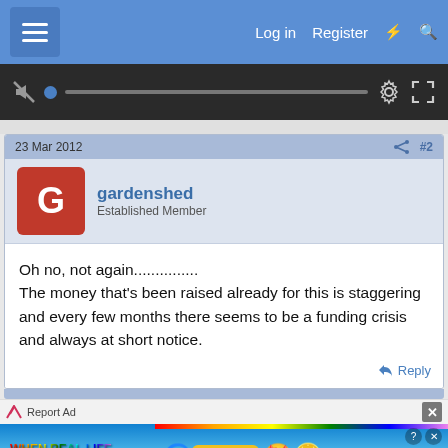Log in  Register
[Figure (screenshot): Video player control bar with mute icon, progress dot, progress bar, gear/settings icon, and fullscreen icon on dark background]
23 Mar 2012   #2
gardenshed
Established Member
Oh no, not again...............
The money that's been raised already for this is staggering and every few months there seems to be a funding crisis and always at short notice.
Reply
Report Ad
[Figure (screenshot): BitLife advertisement banner: rainbow-colored logo strip on left with text WHEN REAL LIFE IS QUARANTINED, BitLife badge with star-eyes emoji and coin emoji]